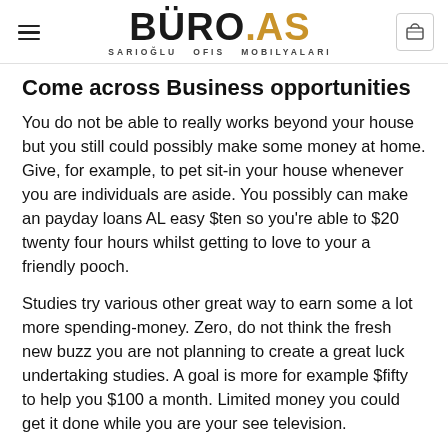BÜRO.AS — SARIOĞLU OFİS MOBİLYALARI
Come across Business opportunities
You do not be able to really works beyond your house but you still could possibly make some money at home. Give, for example, to pet sit-in your house whenever you are individuals are aside. You possibly can make an payday loans AL easy $ten so you're able to $20 twenty four hours whilst getting to love to your a friendly pooch.
Studies try various other great way to earn some a lot more spending-money. Zero, do not think the fresh new buzz you are not planning to create a great luck undertaking studies. A goal is more for example $fifty to help you $100 a month. Limited money you could get it done while you are your see television.